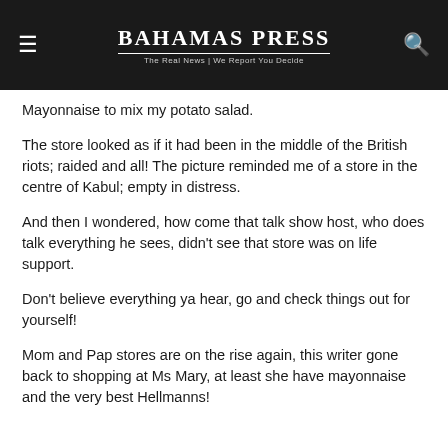BAHAMAS PRESS — The Real News | We Report You Decide
Mayonnaise to mix my potato salad.
The store looked as if it had been in the middle of the British riots; raided and all! The picture reminded me of a store in the centre of Kabul; empty in distress.
And then I wondered, how come that talk show host, who does talk everything he sees, didn't see that store was on life support.
Don't believe everything ya hear, go and check things out for yourself!
Mom and Pap stores are on the rise again, this writer gone back to shopping at Ms Mary, at least she have mayonnaise and the very best Hellmanns!